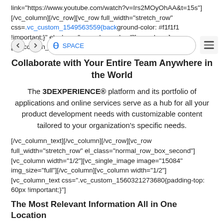link="https://www.youtube.com/watch?v=Irs2MOyOhAA&t=15s"] [/vc_column][/vc_row][vc_row full_width="stretch_row" css=".vc_custom_1549563559{background-color: #f1f1f1 !important;}" el_class="normal_row_box"][vc_column] [vc_column_text]
Collaborate with Your Entire Team Anywhere in the World
The 3DEXPERIENCE® platform and its portfolio of applications and online services serve as a hub for all your product development needs with customizable content tailored to your organization's specific needs.
[/vc_column_text][/vc_column][/vc_row][vc_row full_width="stretch_row" el_class="normal_row_box_second"] [vc_column width="1/2"][vc_single_image image="15084" img_size="full"][/vc_column][vc_column width="1/2"] [vc_column_text css=".vc_custom_1560321273680{padding-top: 60px !important;}"]
The Most Relevant Information All in One Location
Dashboards are the cornerstone of the 3DEXPERIENCE platform,